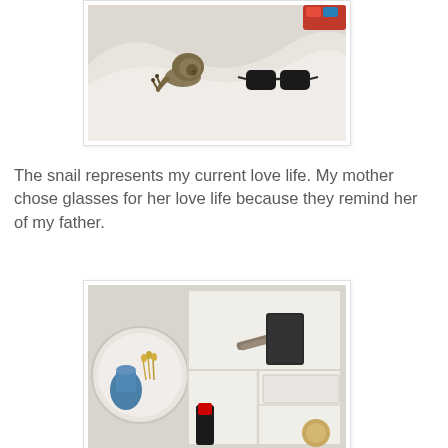[Figure (photo): Photo of a white curved surface/tray with a snail and black sunglasses on it, with a colorful object partially visible at the top right.]
The snail represents my current love life. My mother chose glasses for her love life because they remind her of my father.
[Figure (photo): Photo of a white geometric segmented tray/organizer with various items inside compartments including a small blue pot with dried flowers, a pencil, a dark rectangular object, and other small items.]